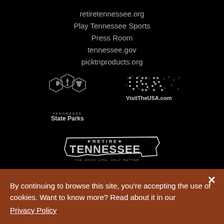retiretennessee.org
Play Tennessee Sports
Press Room
tennessee.gov
picktnproducts.org
[Figure (logo): Tennessee State Parks logo with three hexagonal shapes containing leaf/nature icons and text 'TENNESSEE State Parks' below]
[Figure (logo): VisitTheUSA.com logo with dotted USA text and VisitTheUSA.com below]
[Figure (logo): Retire Tennessee logo with state outline shape and text 'RETIRE TENNESSEE - THE GOOD LIFE, ONLY BETTER']
By continuing to browse this site, you're accepting the use of cookies. Want to know more? Read about it in our Privacy Policy.